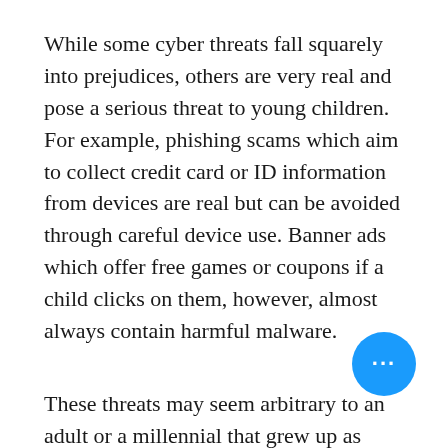While some cyber threats fall squarely into prejudices, others are very real and pose a serious threat to young children. For example, phishing scams which aim to collect credit card or ID information from devices are real but can be avoided through careful device use. Banner ads which offer free games or coupons if a child clicks on them, however, almost always contain harmful malware.
These threats may seem arbitrary to an adult or a millennial that grew up as they became known to the public. However, young children have no experience with harmful content, which aims to steal their data or make their